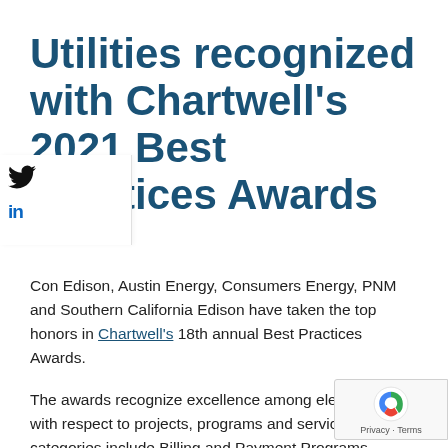Utilities recognized with Chartwell's 2021 Best Practices Awards
Jul 2021
Con Edison, Austin Energy, Consumers Energy, PNM and Southern California Edison have taken the top honors in Chartwell's 18th annual Best Practices Awards.
The awards recognize excellence among electric and ga with respect to projects, programs and service initiatives categories include Billing and Payment Programs, Communications, Customer Service, Digital Experience, and